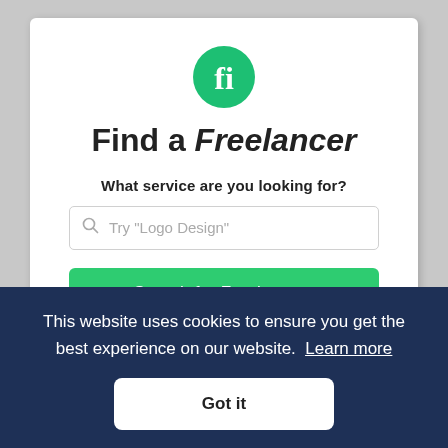[Figure (logo): Fiverr green circle logo with white 'fi' text]
Find a Freelancer
What service are you looking for?
[Figure (screenshot): Search input box with placeholder text: Try "Logo Design"]
Search for Freelancers
This website uses cookies to ensure you get the best experience on our website. Learn more
Got it